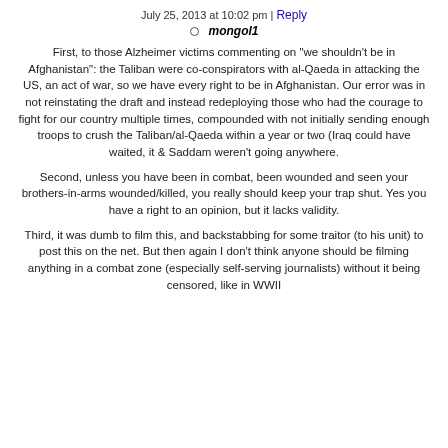July 25, 2013 at 10:02 pm | Reply
mongol1
First, to those Alzheimer victims commenting on "we shouldn't be in Afghanistan": the Taliban were co-conspirators with al-Qaeda in attacking the US, an act of war, so we have every right to be in Afghanistan. Our error was in not reinstating the draft and instead redeploying those who had the courage to fight for our country multiple times, compounded with not initially sending enough troops to crush the Taliban/al-Qaeda within a year or two (Iraq could have waited, it & Saddam weren't going anywhere.
Second, unless you have been in combat, been wounded and seen your brothers-in-arms wounded/killed, you really should keep your trap shut. Yes you have a right to an opinion, but it lacks validity.
Third, it was dumb to film this, and backstabbing for some traitor (to his unit) to post this on the net. But then again I don't think anyone should be filming anything in a combat zone (especially self-serving journalists) without it being censored, like in WWII